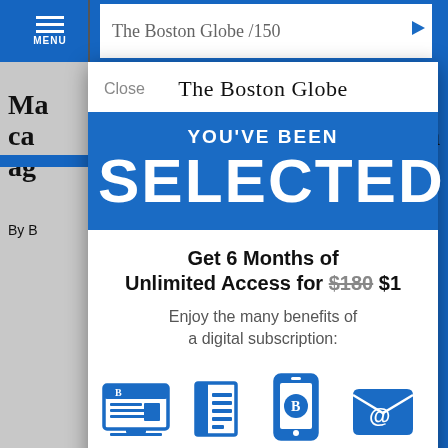[Figure (screenshot): Screenshot of The Boston Globe mobile website with a subscription modal overlay. The modal shows 'YOU'VE BEEN SELECTED' on a blue background, an offer for 6 Months of Unlimited Access for $180 strikethrough then $1, and four benefit icons: Website, E-Paper, App, Newsletters.]